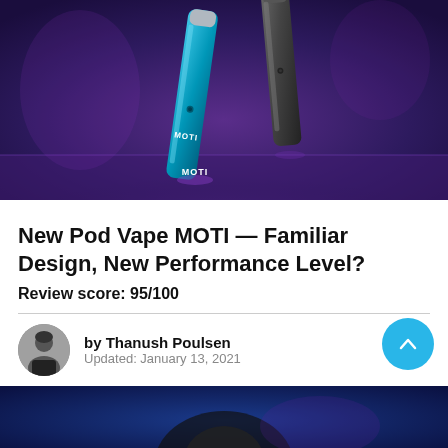[Figure (photo): Product photo of two MOTI pod vape devices (one blue, one gray/dark) floating against a dark purple/blue background with dramatic lighting. The blue device shows the MOTI logo/text on it.]
New Pod Vape MOTI — Familiar Design, New Performance Level?
Review score: 95/100
by Thanush Poulsen
Updated: January 13, 2021
[Figure (photo): Partial bottom image showing a person or product on a dark blue/purple background, partially visible at the bottom of the page.]